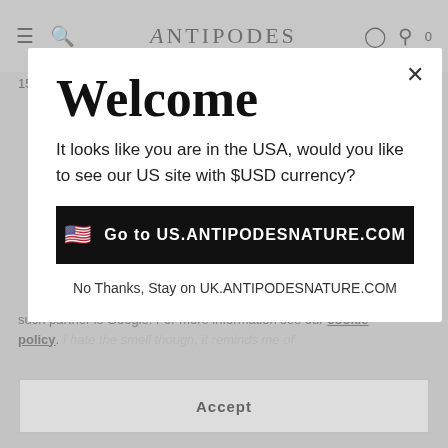Antipodes — navigation bar with hamburger menu, search, logo, user icon, cart (0)
15/06/2022 by Mary  **Verified Purchase**
Cookie policy text: such partner is Google. For more information see our cookie policy.
I hate the smell though, it reminds me of
Welcome
It looks like you are in the USA, would you like to see our US site with $USD currency?
Go to US.ANTIPODESNATURE.COM
No Thanks, Stay on UK.ANTIPODESNATURE.COM
Accept